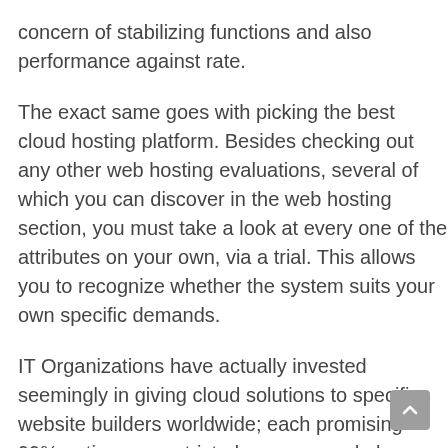concern of stabilizing functions and also performance against rate.
The exact same goes with picking the best cloud hosting platform. Besides checking out any other web hosting evaluations, several of which you can discover in the web hosting section, you must take a look at every one of the attributes on your own, via a trial. This allows you to recognize whether the system suits your own specific demands.
IT Organizations have actually invested seemingly in giving cloud solutions to specific website builders worldwide; each promising 99% uptime, unrestricted sources, and also outstanding assistance.